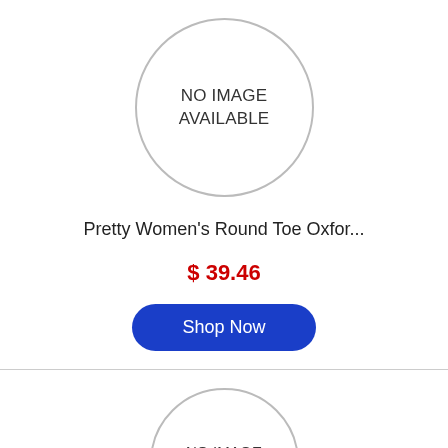[Figure (illustration): Circular placeholder image with text 'NO IMAGE AVAILABLE' in gray border circle]
Pretty Women's Round Toe Oxfor...
$ 39.46
Shop Now
[Figure (illustration): Circular placeholder image with text 'NO IMAGE AVAILABLE' in gray border circle, partially visible at bottom]